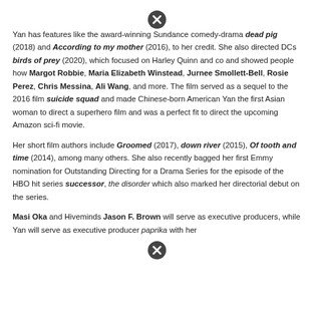[Figure (other): Close button icon (circle with X) at top center of page]
Yan has features like the award-winning Sundance comedy-drama dead pig (2018) and According to my mother (2016), to her credit. She also directed DCs birds of prey (2020), which focused on Harley Quinn and co and showed people how Margot Robbie, Maria Elizabeth Winstead, Jurnee Smollett-Bell, Rosie Perez, Chris Messina, Ali Wang, and more. The film served as a sequel to the 2016 film suicide squad and made Chinese-born American Yan the first Asian woman to direct a superhero film and was a perfect fit to direct the upcoming Amazon sci-fi movie.
Her short film authors include Groomed (2017), down river (2015), Of tooth and time (2014), among many others. She also recently bagged her first Emmy nomination for Outstanding Directing for a Drama Series for the episode of the HBO hit series successor, the disorder which also marked her directorial debut on the series.
Masi Oka and Hiveminds Jason F. Brown will serve as executive producers, while Yan will serve as executive producer paprika with her
[Figure (other): Close button icon (circle with X) at bottom center of page]